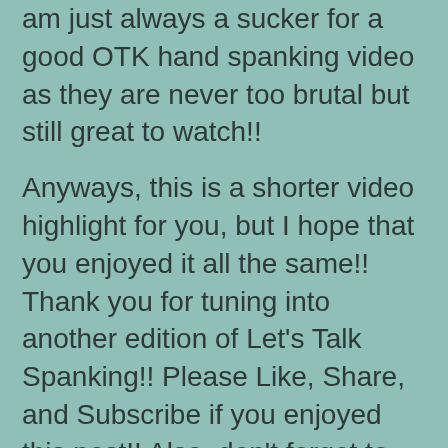am just always a sucker for a good OTK hand spanking video as they are never too brutal but still great to watch!!
Anyways, this is a shorter video highlight for you, but I hope that you enjoyed it all the same!!  Thank you for tuning into another edition of Let's Talk Spanking!!  Please Like, Share, and Subscribe if you enjoyed this post!!  Also, don't forget to check out the Let's Talk Spanking Forum!!  Come say hi and start a new topic and let's all talk about spanking together!!
Let's Talk Spanking Forum: